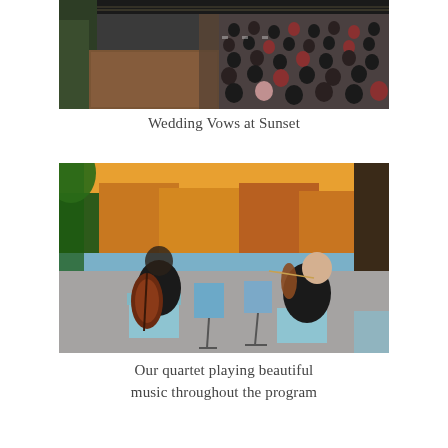[Figure (photo): Aerial/overhead view of a wedding ceremony with guests seated in rows of white chairs at an outdoor venue, viewed from above.]
Wedding Vows at Sunset
[Figure (photo): Two musicians, a cellist and a violinist, playing outdoors at sunset near a lake with autumn-colored trees in the background.]
Our quartet playing beautiful music throughout the program